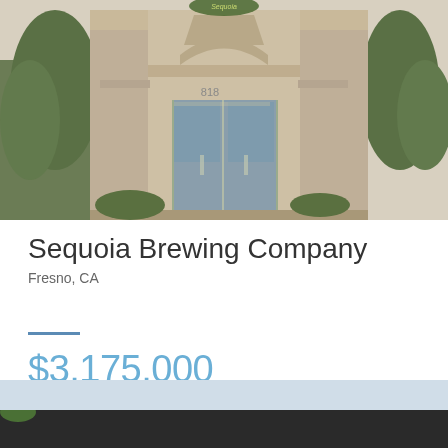[Figure (photo): Exterior photo of Sequoia Brewing Company building in Fresno, CA. A commercial building with beige/tan stone facade, large glass entrance doors, decorative arch above entryway, and green trees/shrubs on either side. The Sequoia Brewing logo is visible at the top of the building.]
Sequoia Brewing Company
Fresno, CA
$3,175,000
[Figure (photo): Partial bottom photo showing what appears to be another property exterior, with a dark roof line visible against a light sky.]